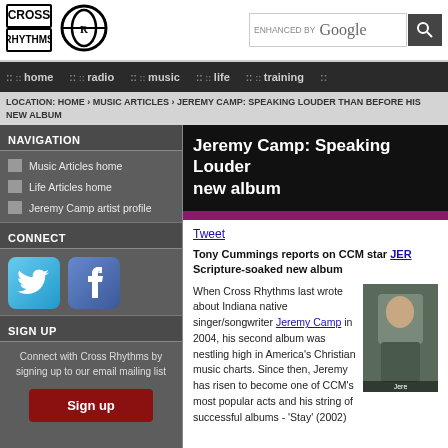Cross Rhythms | ENHANCED BY Google [search]
home :: radio :: music :: life :: training
LOCATION: HOME › MUSIC ARTICLES › JEREMY CAMP: SPEAKING LOUDER THAN BEFORE HIS NEW ALBUM
NAVIGATION
Music Articles home
Life Articles home
Jeremy Camp artist profile
CONNECT
[Figure (screenshot): Twitter and Facebook social media icon buttons]
SIGN UP
Connect with Cross Rhythms by signing up to our email mailing list
Jeremy Camp: Speaking Louder Than Before — his new album
Tweet
Tony Cummings reports on CCM star JEREMY CAMP and his Scripture-soaked new album
When Cross Rhythms last wrote about Indiana native singer/songwriter Jeremy Camp in 2004, his second album was nestling high in America's Christian music charts. Since then, Jeremy has risen to become one of CCM's most popular acts and his string of successful albums - 'Stay' (2002)
[Figure (photo): Photo of Jeremy Camp outdoors]